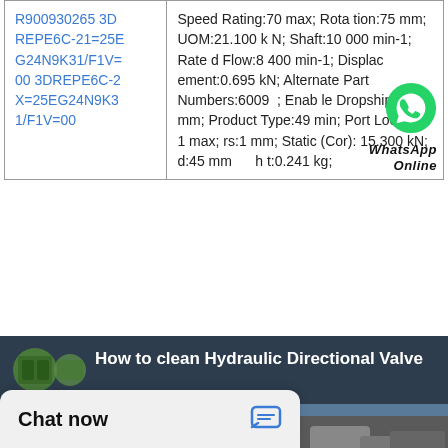| Part Number | Specifications |
| --- | --- |
| R900930265 3DREPE6C-21=25EG24N9K31/F1V=00 3DREPE6C-2X=25EG24N9K31/F1V=00 | Speed Rating:70 max; Rotation:75 mm; UOM:21.100 kN; Shaft:10 000 min-1; Rated Flow:8 400 min-1; Displacement:0.695 kN; Alternate Part Numbers:6009 ; Enable Dropship:16 mm; Product Type:49 min; Port Location:1 max; rs:1 mm; Static (Cor):15.300 kN; d:45 mm; h t:0.241 kg; |
[Figure (screenshot): Video thumbnail for 'How to clean Hydraulic Directional Valve' showing hands working on a valve component]
Chat now